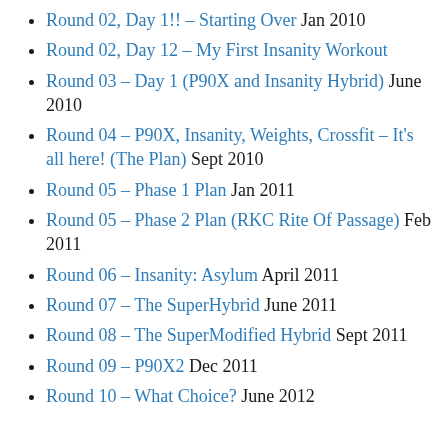Round 02, Day 1!! – Starting Over Jan 2010
Round 02, Day 12 – My First Insanity Workout
Round 03 – Day 1 (P90X and Insanity Hybrid) June 2010
Round 04 – P90X, Insanity, Weights, Crossfit – It's all here! (The Plan) Sept 2010
Round 05 – Phase 1 Plan Jan 2011
Round 05 – Phase 2 Plan (RKC Rite Of Passage) Feb 2011
Round 06 – Insanity: Asylum April 2011
Round 07 – The SuperHybrid June 2011
Round 08 – The SuperModified Hybrid Sept 2011
Round 09 – P90X2 Dec 2011
Round 10 – What Choice? June 2012